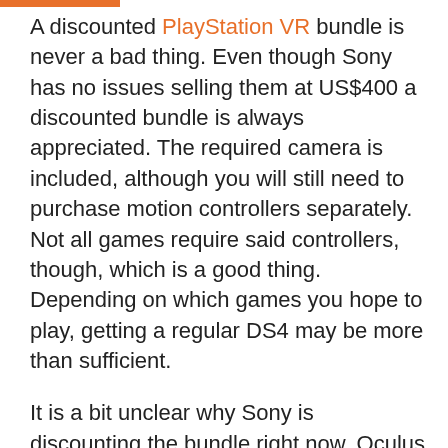A discounted PlayStation VR bundle is never a bad thing. Even though Sony has no issues selling them at US$400 a discounted bundle is always appreciated. The required camera is included, although you will still need to purchase motion controllers separately. Not all games require said controllers, though, which is a good thing. Depending on which games you hope to play, getting a regular DS4 may be more than sufficient.
It is a bit unclear why Sony is discounting the bundle right now. Oculus has taken a similar approach a few weeks ago. Then again, their headset is still more expensive than the PlayStation VR, even at its discounted price. That Oculus bundle does include the proprietary controllers, though. Sony will kee pushing its VR headset to more users at this rate, which is a good sign. We have a lot of fun going through the VR game collection on PlayStation lately, as it contains some great games.